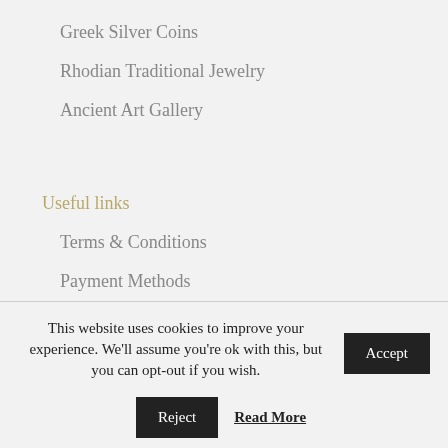Greek Silver Coins
Rhodian Traditional Jewelry
Ancient Art Gallery
Useful links
Terms & Conditions
Payment Methods
Shipping & Returns
Privacy Policy
This website uses cookies to improve your experience. We'll assume you're ok with this, but you can opt-out if you wish. Accept Reject Read More